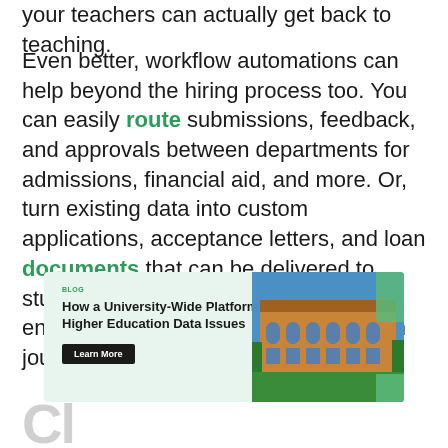your teachers can actually get back to teaching.
Even better, workflow automations can help beyond the hiring process too. You can easily route submissions, feedback, and approvals between departments for admissions, financial aid, and more. Or, turn existing data into custom applications, acceptance letters, and loan documents that can be delivered to students online. The possibilities are endless once you start your automation journey.
[Figure (infographic): Blog card with light green background showing article titled 'How a University-Wide Platform Can Solve Your Higher Education Data Issues' with a Learn More button and a photo of a university building on the right]
Cl